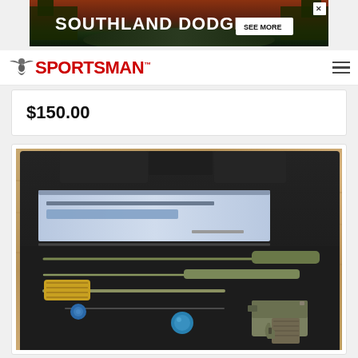[Figure (photo): Southland Dodge advertisement banner with forest road background, white text and SEE MORE button]
[Figure (logo): Sportsman logo with eagle/bird icon and red bold text SPORTSMAN with trademark symbol]
$150.00
[Figure (photo): Open black foam gun case on a wooden surface containing a pistol, cleaning rod, brush, pins, and instruction pamphlet]